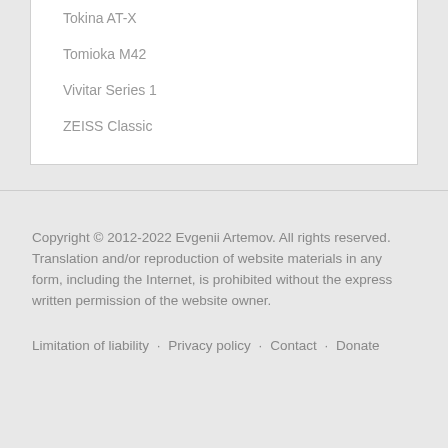Tokina AT-X
Tomioka M42
Vivitar Series 1
ZEISS Classic
Copyright © 2012-2022 Evgenii Artemov. All rights reserved. Translation and/or reproduction of website materials in any form, including the Internet, is prohibited without the express written permission of the website owner.
Limitation of liability · Privacy policy · Contact · Donate